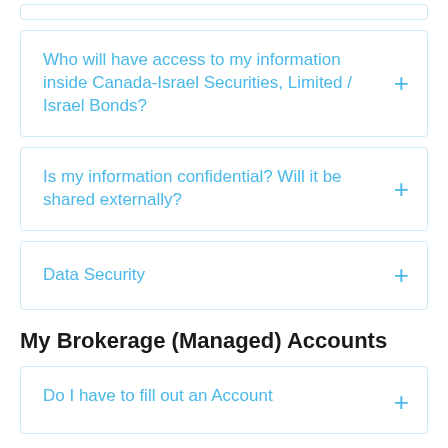Who will have access to my information inside Canada-Israel Securities, Limited / Israel Bonds?
Is my information confidential? Will it be shared externally?
Data Security
My Brokerage (Managed) Accounts
Do I have to fill out an Account...